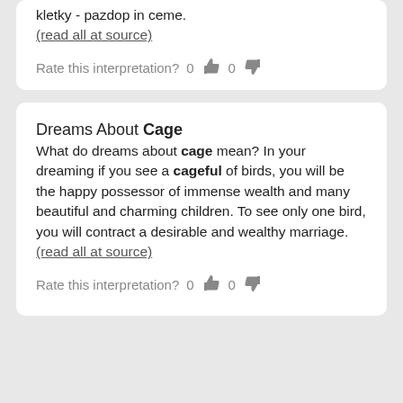kletky - pazdop in ceme. (read all at source)
Rate this interpretation? 0 👍 0 👎
Dreams About Cage
What do dreams about cage mean? In your dreaming if you see a cageful of birds, you will be the happy possessor of immense wealth and many beautiful and charming children. To see only one bird, you will contract a desirable and wealthy marriage. (read all at source)
Rate this interpretation? 0 👍 0 👎